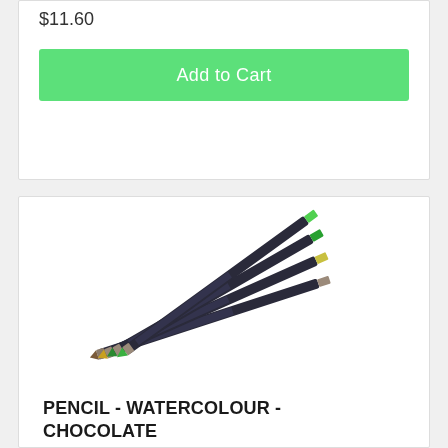$11.60
Add to Cart
[Figure (photo): Four dark-bodied watercolour pencils fanned out, showing coloured tips (green, green, yellow, brown/purple) against a white background.]
PENCIL - WATERCOLOUR - CHOCOLATE
$3.90